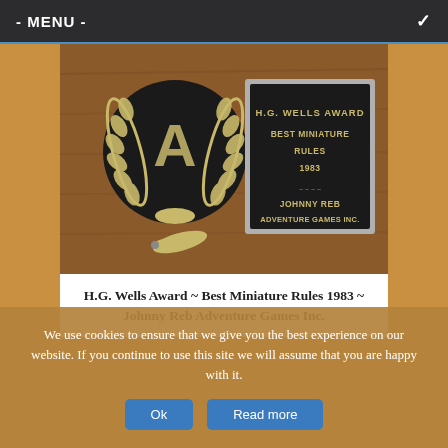- MENU -
[Figure (photo): A wooden plaque with a large circular medallion on the left featuring a laurel wreath and letter A. On the right is a dark metal plate reading H.G. WELLS AWARD / BEST MINIATURE / RULES / 1983 / JOHNNY REB / ADVENTURE GAMES INC. Below the medallion is a small loose leaf pin.]
H.G. Wells Award ~ Best Miniature Rules 1983 ~ Johnny Reb Adventure Games Inc.
We use cookies to ensure that we give you the best experience on our website. If you continue to use this site we will assume that you are happy with it.